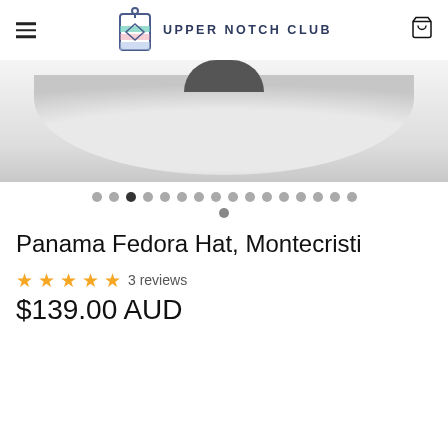UPPER NOTCH CLUB
[Figure (photo): Close-up product photo of a white Panama Fedora hat brim, shot from above on a gray background]
Carousel navigation dots — 17 dots total, third dot active
Panama Fedora Hat, Montecristi
★★★★★ 3 reviews
$139.00 AUD